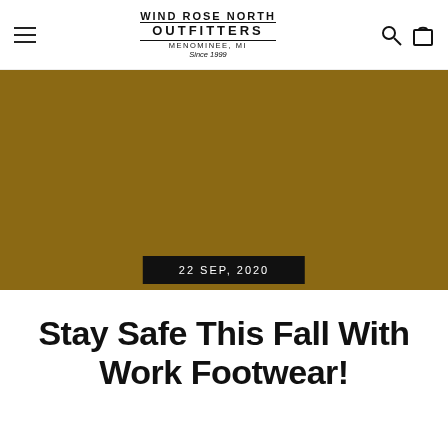Wind Rose North Outfitters — Menominee, MI — Since 1999
[Figure (photo): Large brown/tan hero image background for a retail outfitter website blog post]
22 Sep, 2020
Stay Safe This Fall With Work Footwear!